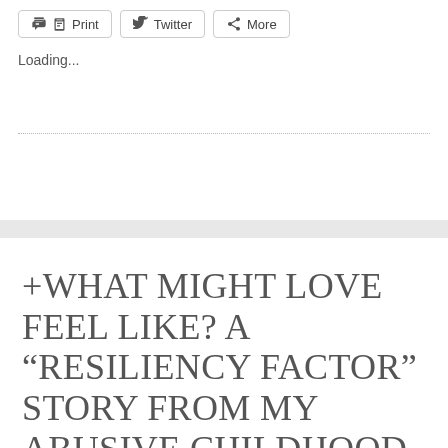[Figure (screenshot): Share buttons: Print, Twitter, More]
Loading...
+WHAT MIGHT LOVE FEEL LIKE? A “RESILIENCY FACTOR” STORY FROM MY ABUSIVE CHILDHOOD